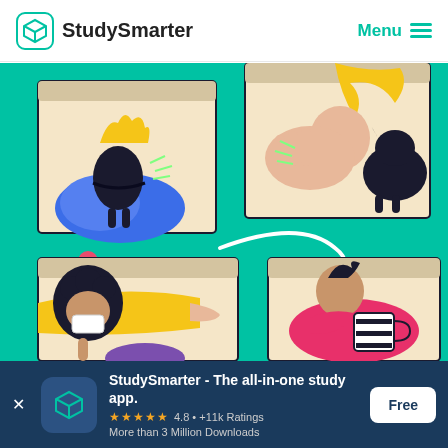StudySmarter  Menu
[Figure (illustration): StudySmarter app promotional illustration on teal/green background showing four cartoon figures in video-call-style frames: top-left shows a dark-skinned figure in a blue bean bag with yellow crown/hair; top-right shows a blonde person shushing a black dog; bottom-left shows a curly-haired person pointing; bottom-right shows a person in pink holding a coffee mug. A white curly arrow connects them. A pink dot accent is also visible.]
StudySmarter - The all-in-one study app.
4.8 • +11k Ratings
More than 3 Million Downloads
Free